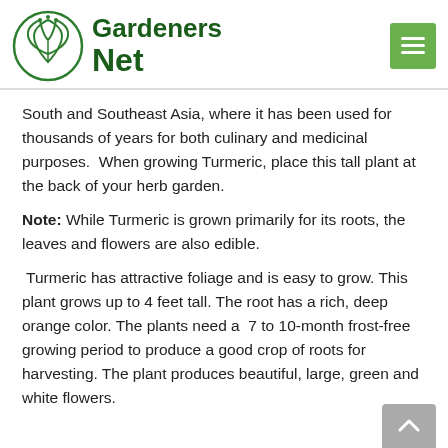Gardeners Net
South and Southeast Asia, where it has been used for thousands of years for both culinary and medicinal purposes.  When growing Turmeric, place this tall plant at the back of your herb garden.
Note: While Turmeric is grown primarily for its roots, the leaves and flowers are also edible.
Turmeric has attractive foliage and is easy to grow. This plant grows up to 4 feet tall. The root has a rich, deep orange color. The plants need a  7 to 10-month frost-free growing period to produce a good crop of roots for harvesting. The plant produces beautiful, large, green and white flowers.